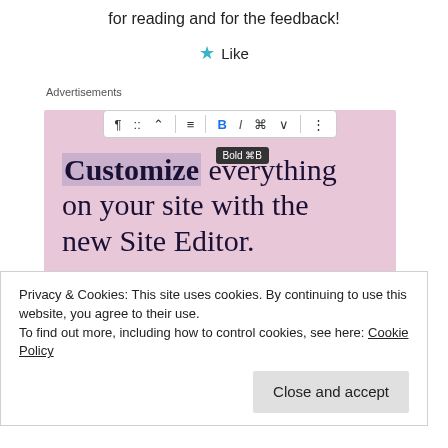for reading and for the feedback!
★ Like
Advertisements
[Figure (screenshot): WordPress site editor advertisement showing a toolbar with Bold button tooltip, headline 'Customize everything on your site with the new Site Editor.' and a 'Start Today' button on a pink background.]
Privacy & Cookies: This site uses cookies. By continuing to use this website, you agree to their use.
To find out more, including how to control cookies, see here: Cookie Policy
Close and accept